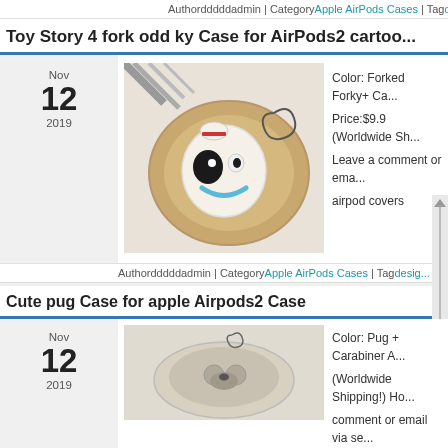Authorddddd·admin | Category·Apple AirPods Cases | Tag·designer
Toy Story 4 fork odd ky Case for AirPods2 carto...
Nov 12 2019
[Figure (photo): Photo of a Forky (Toy Story 4) themed AirPods case shaped like the Forky character with googly eyes, a smile, and a spork-like head with a small hat, placed in a wooden bowl]
Color: Forked Forky+ Ca...
Price:$9.9 (Worldwide Sh...
Leave a comment or ema...
airpod covers
Authorddddd·admin | Category·Apple AirPods Cases | Tag·desig...
Cute pug Case for apple Airpods2 Case
Nov 12 2019
[Figure (photo): Photo of a pug-themed AirPods case for Apple AirPods 2]
Color: Pug + Carabiner A...
(Worldwide Shipping!) Ho...
comment or email via se...